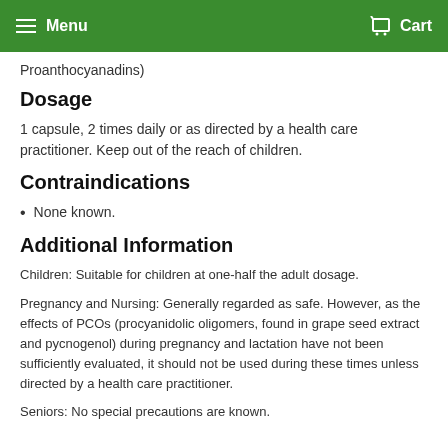Menu  Cart
Proanthocyanadins)
Dosage
1 capsule, 2 times daily or as directed by a health care practitioner. Keep out of the reach of children.
Contraindications
None known.
Additional Information
Children: Suitable for children at one-half the adult dosage.
Pregnancy and Nursing: Generally regarded as safe. However, as the effects of PCOs (procyanidolic oligomers, found in grape seed extract and pycnogenol) during pregnancy and lactation have not been sufficiently evaluated, it should not be used during these times unless directed by a health care practitioner.
Seniors: No special precautions are known.